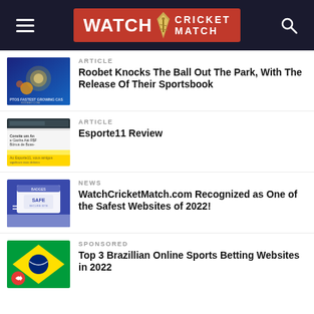WATCH CRICKET MATCH
ARTICLE
Roobet Knocks The Ball Out The Park, With The Release Of Their Sportsbook
ARTICLE
Esporte11 Review
NEWS
WatchCricketMatch.com Recognized as One of the Safest Websites of 2022!
SPONSORED
Top 3 Brazillian Online Sports Betting Websites in 2022